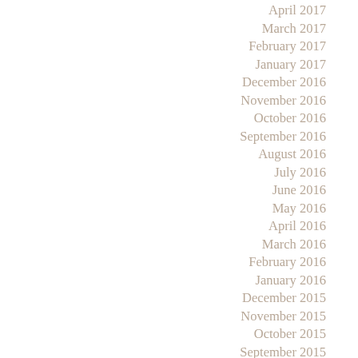April 2017
March 2017
February 2017
January 2017
December 2016
November 2016
October 2016
September 2016
August 2016
July 2016
June 2016
May 2016
April 2016
March 2016
February 2016
January 2016
December 2015
November 2015
October 2015
September 2015
August 2015
July 2015